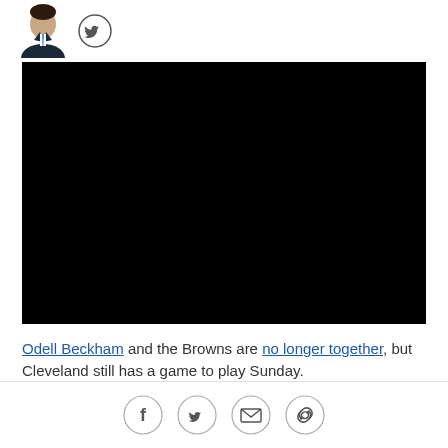[Figure (photo): Author headshot thumbnail (man in suit with blue tie) and a Twitter bird icon circle button]
[Figure (photo): Black video player embed, no content visible]
Odell Beckham and the Browns are no longer together, but Cleveland still has a game to play Sunday.
Their opponent, the Cincinnati Bengals, resides in the
Social share buttons: Facebook, Twitter, Email, Link